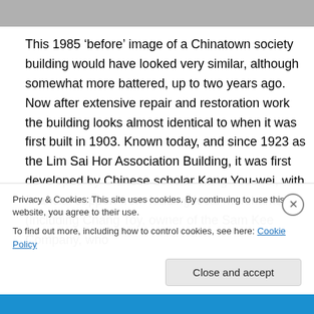[Figure (photo): Top strip showing a partial view of a Chinatown society building photograph in grayscale]
This 1985 ‘before’ image of a Chinatown society building would have looked very similar, although somewhat more battered, up to two years ago. Now after extensive repair and restoration work the building looks almost identical to when it was first built in 1903. Known today, and since 1923 as the Lim Sai Hor Association Building, it was first developed by Chinese scholar Kang You-wei, with financial support from leading local merchants (including Chang Toy, owner of the Sam Kee Company, who
Privacy & Cookies: This site uses cookies. By continuing to use this website, you agree to their use.
To find out more, including how to control cookies, see here: Cookie Policy
Close and accept